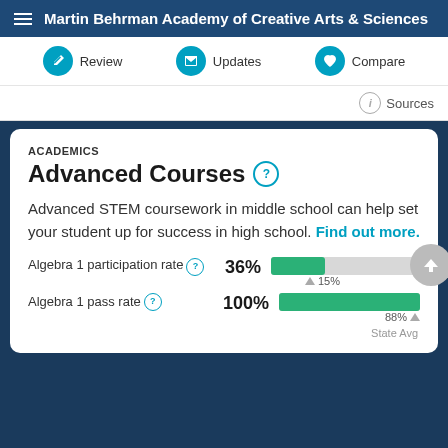Martin Behrman Academy of Creative Arts & Sciences
Review  Updates  Compare
Sources
ACADEMICS
Advanced Courses
Advanced STEM coursework in middle school can help set your student up for success in high school. Find out more.
[Figure (bar-chart): Algebra 1 participation rate]
[Figure (bar-chart): Algebra 1 pass rate]
State Avg